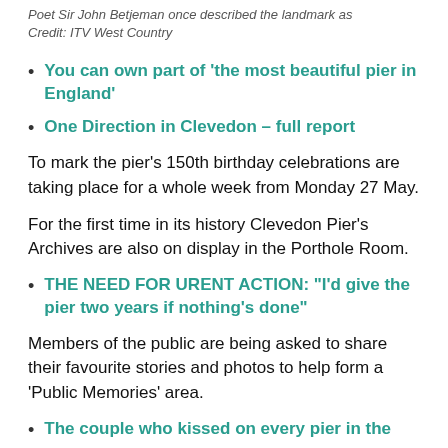Poet Sir John Betjeman once described the landmark as
Credit: ITV West Country
You can own part of 'the most beautiful pier in England'
One Direction in Clevedon – full report
To mark the pier's 150th birthday celebrations are taking place for a whole week from Monday 27 May.
For the first time in its history Clevedon Pier's Archives are also on display in the Porthole Room.
THE NEED FOR URENT ACTION: "I'd give the pier two years if nothing's done"
Members of the public are being asked to share their favourite stories and photos to help form a 'Public Memories' area.
The couple who kissed on every pier in the